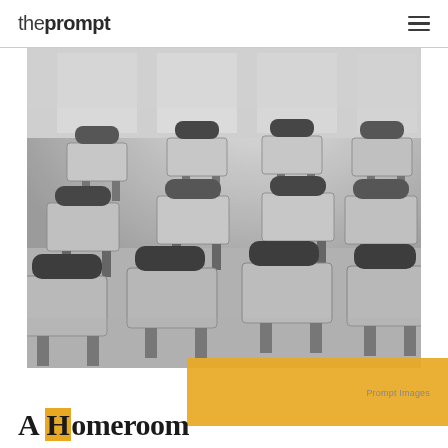theprompt
[Figure (photo): Black and white photograph of an empty school classroom with rows of student desks and chairs]
Prompt Images
A Homeroom